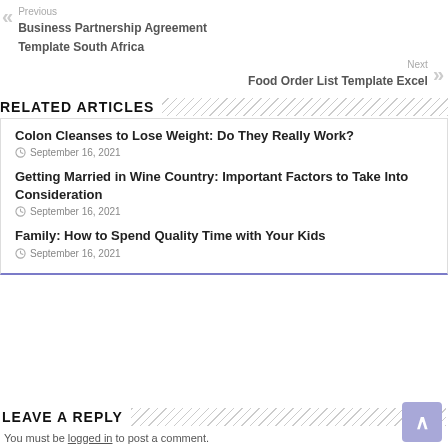Previous
Business Partnership Agreement Template South Africa
Next
Food Order List Template Excel
RELATED ARTICLES
Colon Cleanses to Lose Weight: Do They Really Work?
September 16, 2021
Getting Married in Wine Country: Important Factors to Take Into Consideration
September 16, 2021
Family: How to Spend Quality Time with Your Kids
September 16, 2021
LEAVE A REPLY
You must be logged in to post a comment.